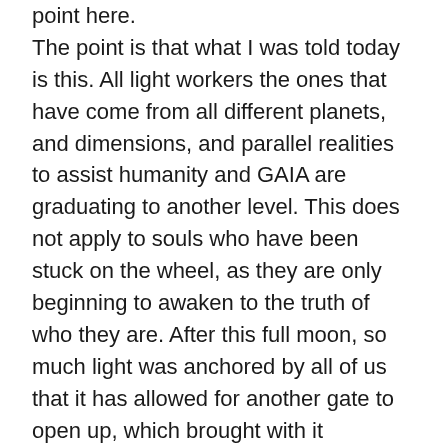point here. The point is that what I was told today is this. All light workers the ones that have come from all different planets, and dimensions, and parallel realities to assist humanity and GAIA are graduating to another level. This does not apply to souls who have been stuck on the wheel, as they are only beginning to awaken to the truth of who they are. After this full moon, so much light was anchored by all of us that it has allowed for another gate to open up, which brought with it incredible energies, which are going to be working FOR us.
For light workers it will allow us to move to PHASE 2. Which is where we are going to be taught, or rather REMINDED of HOW to utilize these energies, which words to use to bring forth what we wish to see in our lives. What actions to take. What to change, what to let go